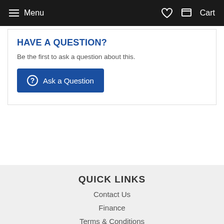Menu  Cart
HAVE A QUESTION?
Be the first to ask a question about this.
Ask a Question
QUICK LINKS
Contact Us
Finance
Terms & Conditions
Delivery & Returns
Privacy Policy